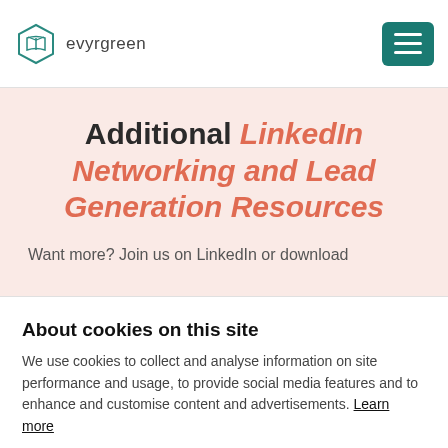evyrgreen
Additional LinkedIn Networking and Lead Generation Resources
Want more? Join us on LinkedIn or download
About cookies on this site
We use cookies to collect and analyse information on site performance and usage, to provide social media features and to enhance and customise content and advertisements. Learn more
Allow all cookies
Cookie settings